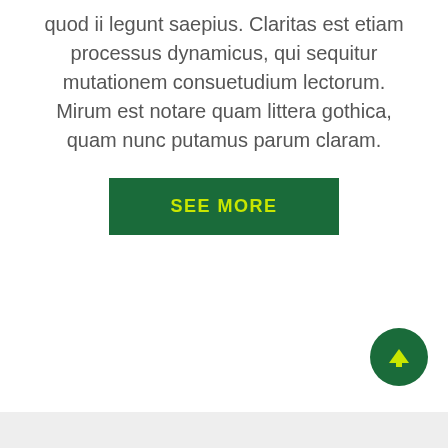quod ii legunt saepius. Claritas est etiam processus dynamicus, qui sequitur mutationem consuetudium lectorum. Mirum est notare quam littera gothica, quam nunc putamus parum claram.
SEE MORE
[Figure (other): Back to top button: dark green circle with a yellow upward arrow]